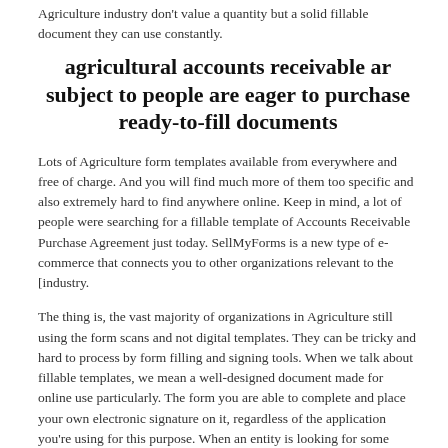Agriculture industry don't value a quantity but a solid fillable document they can use constantly.
agricultural accounts receivable ar subject to people are eager to purchase ready-to-fill documents
Lots of Agriculture form templates available from everywhere and free of charge. And you will find much more of them too specific and also extremely hard to find anywhere online. Keep in mind, a lot of people were searching for a fillable template of Accounts Receivable Purchase Agreement just today. SellMyForms is a new type of e-commerce that connects you to other organizations relevant to the [industry.
The thing is, the vast majority of organizations in Agriculture still using the form scans and not digital templates. They can be tricky and hard to process by form filling and signing tools. When we talk about fillable templates, we mean a well-designed document made for online use particularly. The form you are able to complete and place your own electronic signature on it, regardless of the application you're using for this purpose. When an entity is looking for some template like Accounts Receivable Purchase Agreement, they would rather pay a reasonable cost for your ready-made file compared to creating it by themselves or coping